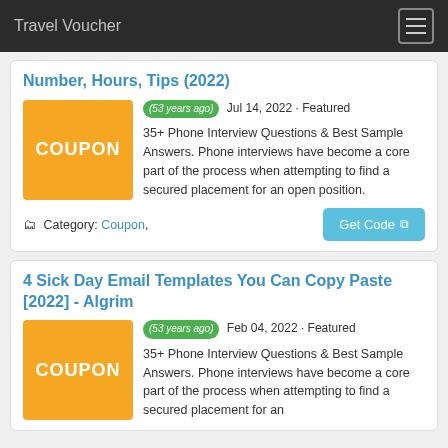Travel Voucher
Number, Hours, Tips (2022)
(53 years ago) Jul 14, 2022 · Featured 35+ Phone Interview Questions & Best Sample Answers. Phone interviews have become a core part of the process when attempting to find a secured placement for an open position.
Category: Coupon,
4 Sick Day Email Templates You Can Copy Paste [2022] - Algrim
(53 years ago) Feb 04, 2022 · Featured 35+ Phone Interview Questions & Best Sample Answers. Phone interviews have become a core part of the process when attempting to find a secured placement for an